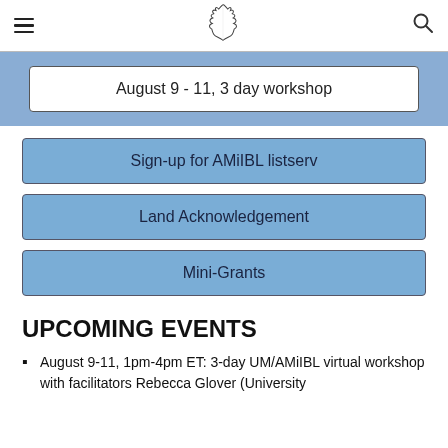Michigan state navigation header with hamburger menu, Michigan outline logo, and search icon
August 9 - 11, 3 day workshop
Sign-up for AMiIBL listserv
Land Acknowledgement
Mini-Grants
UPCOMING EVENTS
August 9-11, 1pm-4pm ET: 3-day UM/AMiIBL virtual workshop with facilitators Rebecca Glover (University